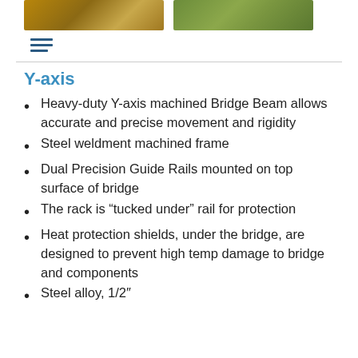[Figure (photo): Two photos at the top — left shows a machined bridge beam component, right shows a green metallic rail or frame component]
Y-axis
Heavy-duty Y-axis machined Bridge Beam allows accurate and precise movement and rigidity
Steel weldment machined frame
Dual Precision Guide Rails mounted on top surface of bridge
The rack is “tucked under” rail for protection
Heat protection shields, under the bridge, are designed to prevent high temp damage to bridge and components
Steel alloy, 1/2″...